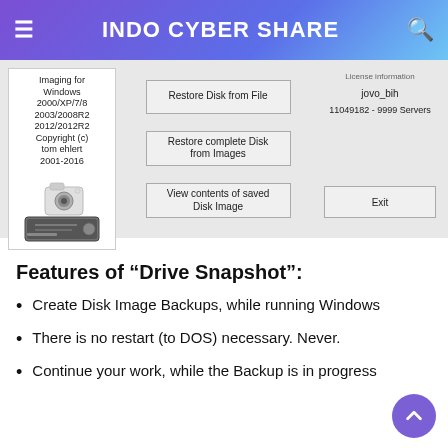INDO CYBER SHARE
[Figure (screenshot): Drive Snapshot software UI screenshot showing left panel with version info (Imaging for Windows 2000/XP/7/8 2003/2008R2 2012/2012R2, Copyright (c) tom ehlert 2001-2016), camera and hard drive images; center buttons: Restore Disk from File, Restore complete Disk from Images, View contents of saved Disk Image; right panel: license info jovo_bih, 11049182 - 9999 Servers, Exit button]
Features of “Drive Snapshot”:
Create Disk Image Backups, while running Windows
There is no restart (to DOS) necessary. Never.
Continue your work, while the Backup is in progress